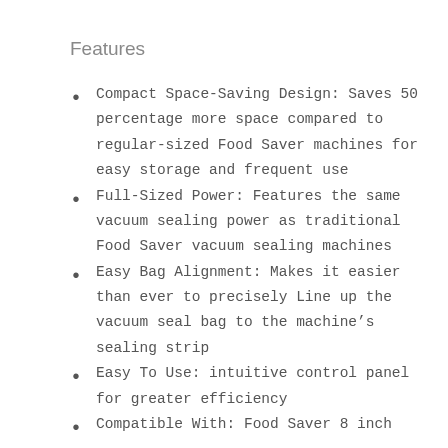Features
Compact Space-Saving Design: Saves 50 percentage more space compared to regular-sized Food Saver machines for easy storage and frequent use
Full-Sized Power: Features the same vacuum sealing power as traditional Food Saver vacuum sealing machines
Easy Bag Alignment: Makes it easier than ever to precisely Line up the vacuum seal bag to the machine’s sealing strip
Easy To Use: intuitive control panel for greater efficiency
Compatible With: Food Saver 8 inch